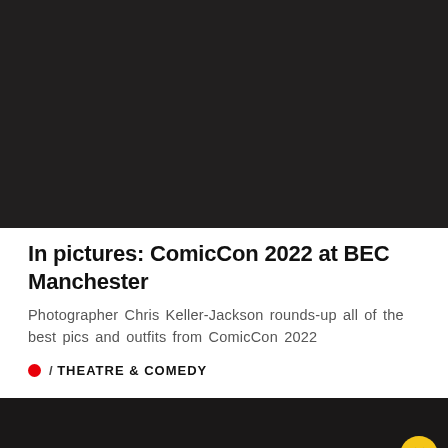[Figure (photo): Dark/black photograph image at the top of the article card]
In pictures: ComicCon 2022 at BEC Manchester
Photographer Chris Keller-Jackson rounds-up all of the best pics and outfits from ComicCon 2022
/ THEATRE & COMEDY
[Figure (photo): Dark/black photograph image at the bottom, partially visible, with a yellow circular badge with an X icon in the bottom right corner]